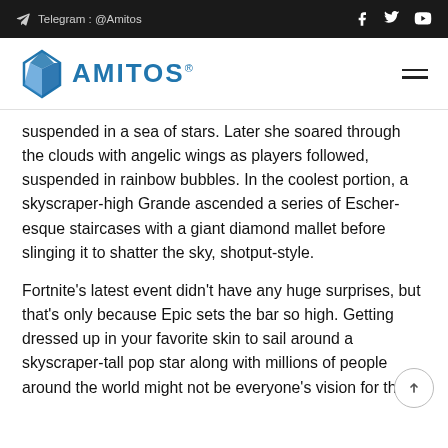Telegram : @Amitos
[Figure (logo): Amitos logo with geometric diamond icon and AMITOS® wordmark in blue]
suspended in a sea of stars. Later she soared through the clouds with angelic wings as players followed, suspended in rainbow bubbles. In the coolest portion, a skyscraper-high Grande ascended a series of Escher-esque staircases with a giant diamond mallet before slinging it to shatter the sky, shotput-style.
Fortnite's latest event didn't have any huge surprises, but that's only because Epic sets the bar so high. Getting dressed up in your favorite skin to sail around a skyscraper-tall pop star along with millions of people around the world might not be everyone's vision for the